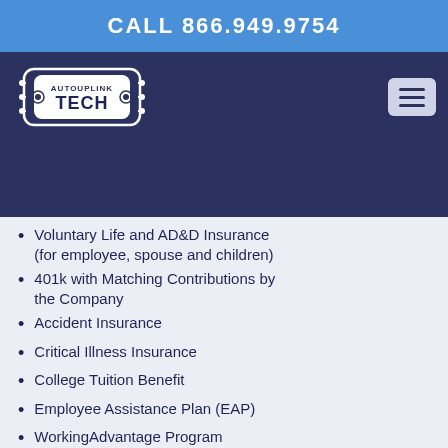CALL 866.949.9754
[Figure (logo): Autouplink Tech logo — white badge with circuit decoration]
Short-term Disability Insurance paid for by the Company
[Long-term] Insurance paid for by the [Company]
Voluntary Life and AD&D Insurance (for employee, spouse and children)
401k with Matching Contributions by the Company
Accident Insurance
Critical Illness Insurance
College Tuition Benefit
Employee Assistance Plan (EAP)
WorkingAdvantage Program
LifeMart Access (think employee "groupon")
And more!